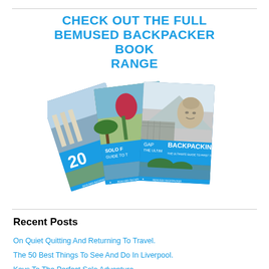CHECK OUT THE FULL BEMUSED BACKPACKER BOOK RANGE
[Figure (illustration): A fanned-out stack of travel books from the Bemused Backpacker series, including titles about Backpacking, Solo Female travel, and Gap year travel, with travel photography covers.]
Recent Posts
On Quiet Quitting And Returning To Travel.
The 50 Best Things To See And Do In Liverpool.
Keys To The Perfect Solo Adventure.